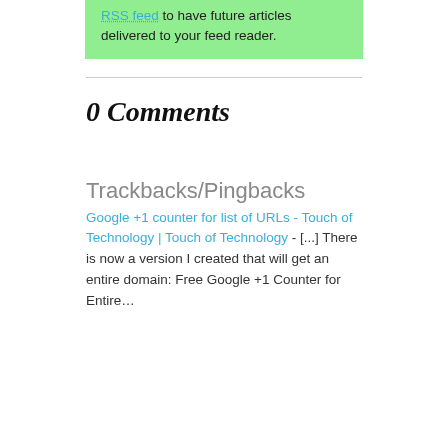RSS feed to have future articles delivered to your feed reader.
0 Comments
Trackbacks/Pingbacks
Google +1 counter for list of URLs - Touch of Technology | Touch of Technology - [...] There is now a version I created that will get an entire domain: Free Google +1 Counter for Entire…